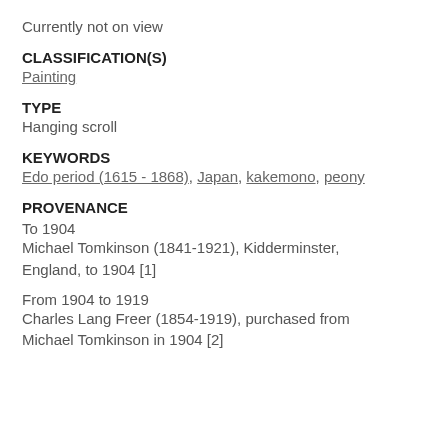Currently not on view
CLASSIFICATION(S)
Painting
TYPE
Hanging scroll
KEYWORDS
Edo period (1615 - 1868), Japan, kakemono, peony
PROVENANCE
To 1904
Michael Tomkinson (1841-1921), Kidderminster, England, to 1904 [1]
From 1904 to 1919
Charles Lang Freer (1854-1919), purchased from Michael Tomkinson in 1904 [2]